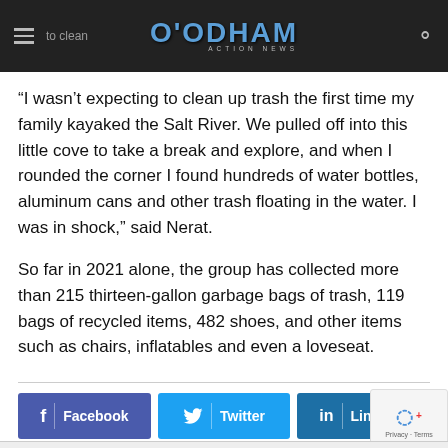O'ODHAM ACTION NEWS
“I wasn’t expecting to clean up trash the first time my family kayaked the Salt River. We pulled off into this little cove to take a break and explore, and when I rounded the corner I found hundreds of water bottles, aluminum cans and other trash floating in the water. I was in shock,” said Nerat.
So far in 2021 alone, the group has collected more than 215 thirteen-gallon garbage bags of trash, 119 bags of recycled items, 482 shoes, and other items such as chairs, inflatables and even a loveseat.
[Figure (other): Social share buttons for Facebook, Twitter, and Linkedin, plus a reCAPTCHA widget in bottom right corner.]